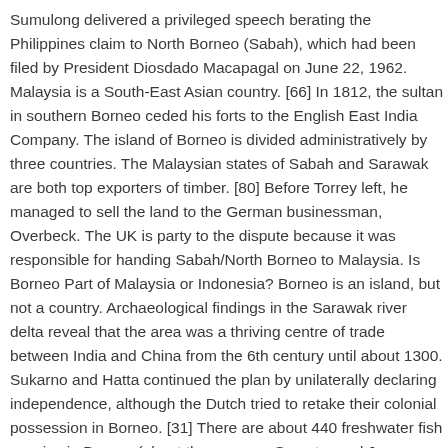Sumulong delivered a privileged speech berating the Philippines claim to North Borneo (Sabah), which had been filed by President Diosdado Macapagal on June 22, 1962. Malaysia is a South-East Asian country. [66] In 1812, the sultan in southern Borneo ceded his forts to the English East India Company. The island of Borneo is divided administratively by three countries. The Malaysian states of Sabah and Sarawak are both top exporters of timber. [80] Before Torrey left, he managed to sell the land to the German businessman, Overbeck. The UK is party to the dispute because it was responsible for handing Sabah/North Borneo to Malaysia. Is Borneo Part of Malaysia or Indonesia? Borneo is an island, but not a country. Archaeological findings in the Sarawak river delta reveal that the area was a thriving centre of trade between India and China from the 6th century until about 1300. Sukarno and Hatta continued the plan by unilaterally declaring independence, although the Dutch tried to retake their colonial possession in Borneo. [31] There are about 440 freshwater fish species in Borneo (about the same as Sumatra and Java combined). In 1457,